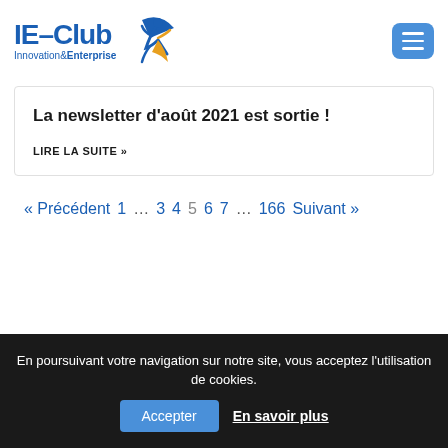[Figure (logo): IE-Club Innovation & Enterprise logo with stylized running figure in blue and orange/gold, alongside a menu button (hamburger icon) in blue on the right]
La newsletter d'août 2021 est sortie !
LIRE LA SUITE »
« Précédent  1  ...  3  4  5  6  7  ...  166  Suivant »
En poursuivant votre navigation sur notre site, vous acceptez l'utilisation de cookies.
Accepter   En savoir plus